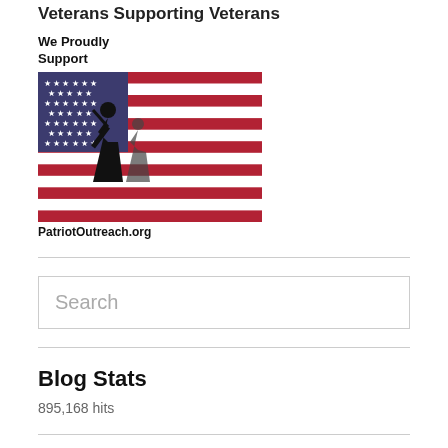Veterans Supporting Veterans
We Proudly Support
[Figure (photo): A silhouette of a soldier saluting in front of an American flag, with text 'PatriotOutreach.org' below.]
PatriotOutreach.org
Search
Blog Stats
895,168 hits
Follow Blog via Email
Enter your email address to follow this blog and receive notifications of